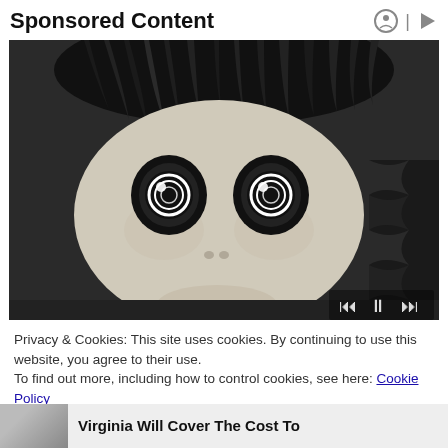Sponsored Content
[Figure (photo): Black and white close-up photo of a doll face with stylized eyes, dark hair, and media player controls at the bottom]
Privacy & Cookies: This site uses cookies. By continuing to use this website, you agree to their use.
To find out more, including how to control cookies, see here: Cookie Policy
Close and accept
Virginia Will Cover The Cost To Install Solar If You Own A H...